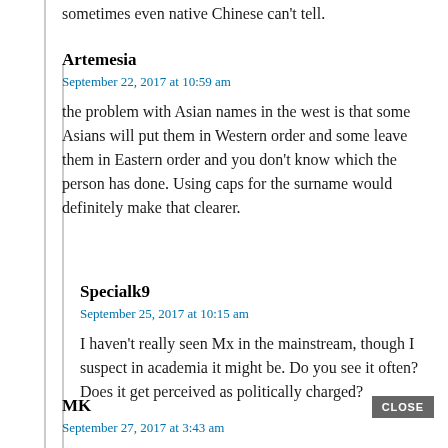sometimes even native Chinese can't tell.
Artemesia
September 22, 2017 at 10:59 am
the problem with Asian names in the west is that some Asians will put them in Western order and some leave them in Eastern order and you don’t know which the person has done. Using caps for the surname would definitely make that clearer.
Specialk9
September 25, 2017 at 10:15 am
I haven’t really seen Mx in the mainstream, though I suspect in academia it might be. Do you see it often? Does it get perceived as politically charged?
MK
September 27, 2017 at 3:43 am